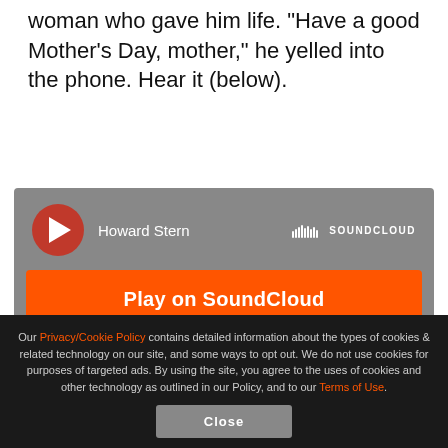woman who gave him life. "Have a good Mother's Day, mother," he yelled into the phone. Hear it (below).
[Figure (screenshot): SoundCloud embedded audio widget with orange 'Play on SoundCloud' button, 'Listen in browser' button, Howard Stern artist name, SoundCloud logo, and Privacy policy link. Background is gray.]
Shuli also got in touch with Bobo, who had no definite plans for Sunday's holiday but did draw a connection between Howard and his mom. “I’ll
Our Privacy/Cookie Policy contains detailed information about the types of cookies & related technology on our site, and some ways to opt out. We do not use cookies for purposes of targeted ads. By using the site, you agree to the uses of cookies and other technology as outlined in our Policy, and to our Terms of Use.
Close